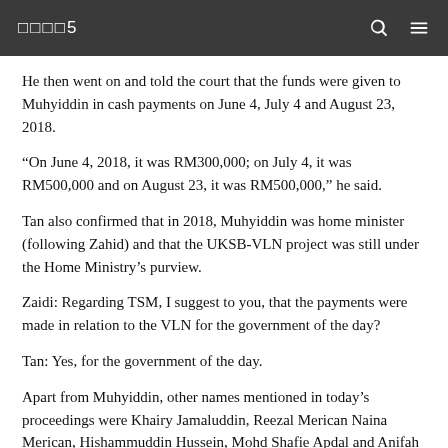□□□□5
He then went on and told the court that the funds were given to Muhyiddin in cash payments on June 4, July 4 and August 23, 2018.
“On June 4, 2018, it was RM300,000; on July 4, it was RM500,000 and on August 23, it was RM500,000,” he said.
Tan also confirmed that in 2018, Muhyiddin was home minister (following Zahid) and that the UKSB-VLN project was still under the Home Ministry’s purview.
Zaidi: Regarding TSM, I suggest to you, that the payments were made in relation to the VLN for the government of the day?
Tan: Yes, for the government of the day.
Apart from Muhyiddin, other names mentioned in today’s proceedings were Khairy Jamaluddin, Reezal Merican Naina Merican, Hishammuddin Hussein, Mohd Shafie Apdal and Anifah Aman, as they were also stated in the UKSB’s ledger and the Malaysian Anti-Corruption Commission’s forensic report.